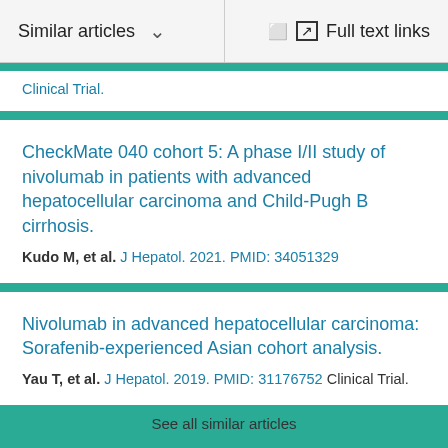Similar articles   Full text links
Clinical Trial.
CheckMate 040 cohort 5: A phase I/II study of nivolumab in patients with advanced hepatocellular carcinoma and Child-Pugh B cirrhosis.
Kudo M, et al. J Hepatol. 2021. PMID: 34051329
Nivolumab in advanced hepatocellular carcinoma: Sorafenib-experienced Asian cohort analysis.
Yau T, et al. J Hepatol. 2019. PMID: 31176752 Clinical Trial.
See all similar articles